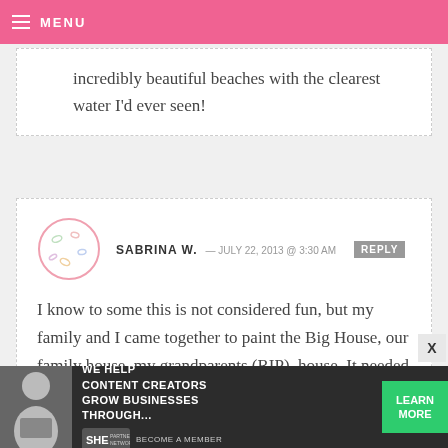MENU
incredibly beautiful beaches with the clearest water I'd ever seen!
SABRINA W. — JULY 22, 2013 @ 3:30 AM REPLY
I know to some this is not considered fun, but my family and I came together to paint the Big House, our family house, my grandparents (RIP), house. It needed some tender loving care. We're also cleaning up the backyard. It's fun because...
[Figure (infographic): Advertisement banner: WE HELP CONTENT CREATORS GROW BUSINESSES THROUGH... SHE PARTNER NETWORK BECOME A MEMBER. Learn More button.]